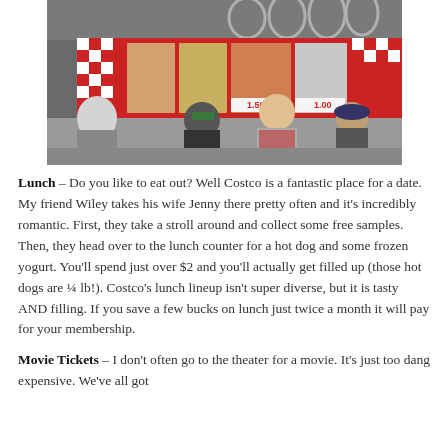[Figure (photo): Interior photo of a Costco food court counter area showing menu boards with food items and prices, including hot dogs at $1.50 and pizza. Several customers and a red-vested employee are visible in the foreground.]
Lunch – Do you like to eat out? Well Costco is a fantastic place for a date. My friend Wiley takes his wife Jenny there pretty often and it's incredibly romantic. First, they take a stroll around and collect some free samples. Then, they head over to the lunch counter for a hot dog and some frozen yogurt. You'll spend just over $2 and you'll actually get filled up (those hot dogs are ¼ lb!). Costco's lunch lineup isn't super diverse, but it is tasty AND filling. If you save a few bucks on lunch just twice a month it will pay for your membership.
Movie Tickets – I don't often go to the theater for a movie. It's just too dang expensive. We've all got